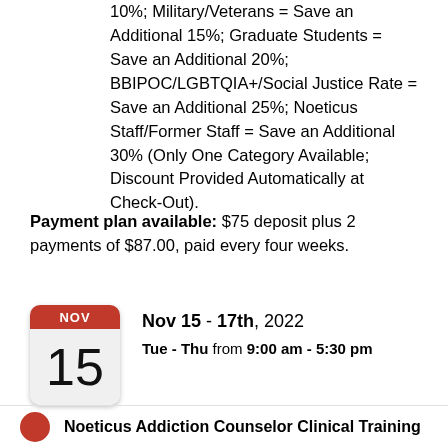10%; Military/Veterans = Save an Additional 15%; Graduate Students = Save an Additional 20%; BBIPOC/LGBTQIA+/Social Justice Rate = Save an Additional 25%; Noeticus Staff/Former Staff = Save an Additional 30% (Only One Category Available; Discount Provided Automatically at Check-Out).
Payment plan available: $75 deposit plus 2 payments of $87.00, paid every four weeks.
[Figure (other): Calendar icon showing NOV 15]
Nov 15 - 17th, 2022 Tue - Thu from 9:00 am - 5:30 pm
Noeticus Addiction Counselor Clinical Training